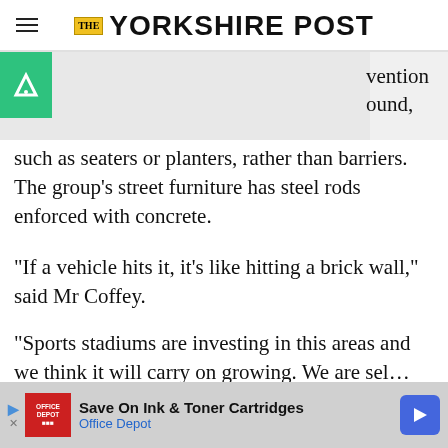THE YORKSHIRE POST
[Figure (logo): Yorkshire Post masthead logo with THE in yellow box and YORKSHIRE POST in bold black]
...vention ...ound, such as seaters or planters, rather than barriers. The group’s street furniture has steel rods enforced with concrete.
“If a vehicle hits it, it’s like hitting a brick wall,” said Mr Coffey.
“Sports stadiums are investing in this areas and we think it will carry on growing. We are sel...
[Figure (screenshot): Office Depot advertisement banner: Save On Ink & Toner Cartridges, Office Depot]